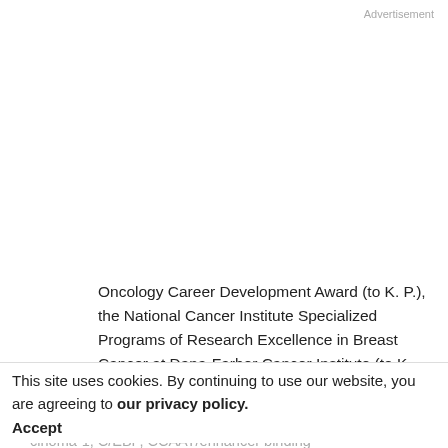Advertisement
Oncology Career Development Award (to K. P.), the National Cancer Institute Specialized Programs of Research Excellence in Breast Cancer at Dana-Farber Cancer Institute (to K. P.); and by the Dana-Farber Cancer Institute (to K. P., D. A. P., and I. E. K.).
4  The abbreviations used are: SAGE, serial analysis of gene expression; DCIS, ductal carcinoma(s) in situ;
This site uses cookies. By continuing to use our website, you are agreeing to our privacy policy. Accept
cinoma-1; C/EBP, CCAAT/enhancer binding